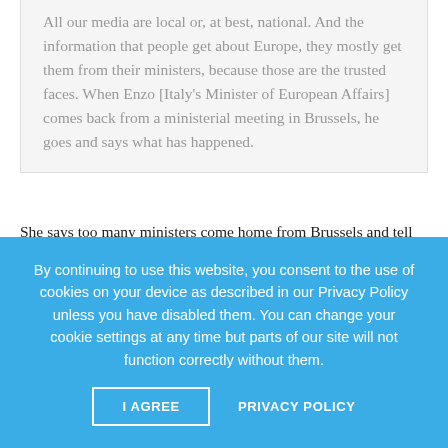All our media are local or, at best, national. And the information that people get about Europe, they mostly get them from their ministers, because those are the trusted faces. When Enzo [Italy's Minister of European Affairs] comes back from a ministerial meeting in Brussels, he goes and says what has happened.
She says too many ministers come home from Brussels and tell their national audiences: “I won! You would think they were coming back from a boxing match! If you win, it means the others lose… But, actually, we reach a compromise and
By continuing to use this website, you consent to the use of cookies on your device as described in our Privacy Policy unless you have disabled them. You can change your cookie settings at any time but parts of our site will not function correctly without them.
I AGREE    PRIVACY POLICY